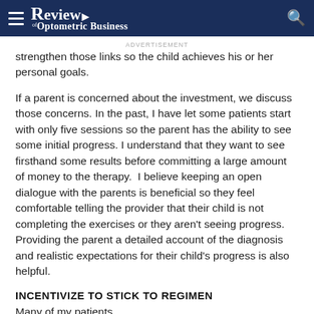Review of Optometric Business
strengthen those links so the child achieves his or her personal goals.
If a parent is concerned about the investment, we discuss those concerns. In the past, I have let some patients start with only five sessions so the parent has the ability to see some initial progress. I understand that they want to see firsthand some results before committing a large amount of money to the therapy.  I believe keeping an open dialogue with the parents is beneficial so they feel comfortable telling the provider that their child is not completing the exercises or they aren't seeing progress. Providing the parent a detailed account of the diagnosis and realistic expectations for their child's progress is also helpful.
INCENTIVIZE TO STICK TO REGIMEN
Many of my patients...